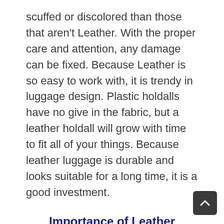scuffed or discolored than those that aren't Leather. With the proper care and attention, any damage can be fixed. Because Leather is so easy to work with, it is trendy in luggage design. Plastic holdalls have no give in the fabric, but a leather holdall will grow with time to fit all of your things. Because leather luggage is durable and looks suitable for a long time, it is a good investment.
Importance of Leather
Lightweight and robust, Leather is easy to mold and cut because it breathes. It is now one of the most popular things to b